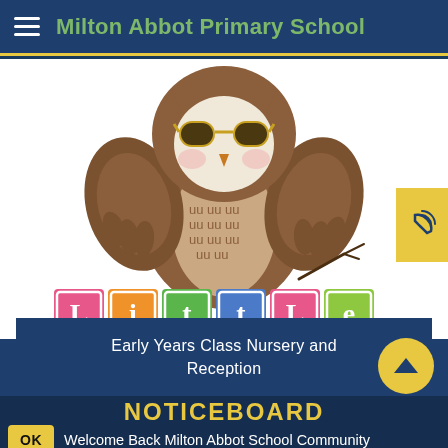Milton Abbot Primary School
[Figure (illustration): Cartoon owl mascot with yellow sunglasses, brown feathers, sitting above colorful letter blocks spelling 'Little']
Early Years Class Nursery and Reception
NOTICEBOARD
Welcome Back Milton Abbot School Community